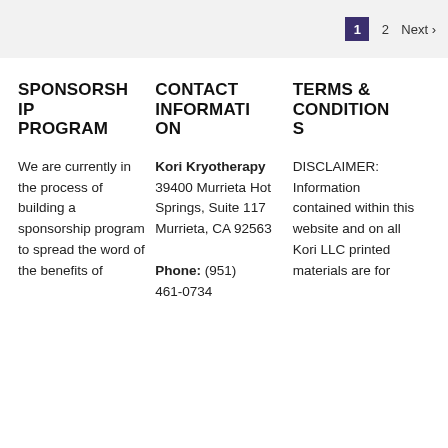1  2  Next >
SPONSORSHIP PROGRAM
CONTACT INFORMATION
TERMS & CONDITIONS
We are currently in the process of building a sponsorship program to spread the word of the benefits of
Kori Kryotherapy
39400 Murrieta Hot Springs, Suite 117
Murrieta, CA 92563

Phone: (951)
461-0734
DISCLAIMER: Information contained within this website and on all Kori LLC printed materials are for